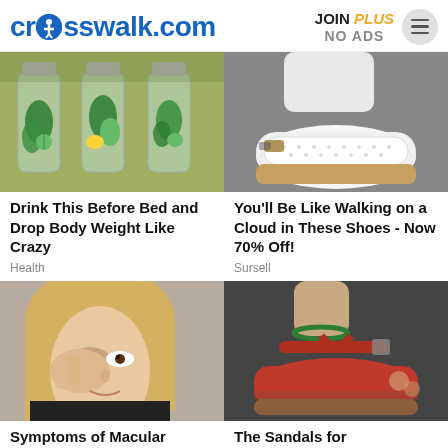crosswalk.com | JOIN PLUS NO ADS
[Figure (photo): Three glass bottles filled with water, cucumber slices, mint leaves, and lemon slices]
Drink This Before Bed and Drop Body Weight Like Crazy
Health
[Figure (photo): Close-up of feet wearing white perforated slip-on sneakers with brown soles]
You'll Be Like Walking on a Cloud in These Shoes - Now 70% Off!
Sursell
[Figure (photo): Blonde woman rubbing her eye with her hand]
Symptoms of Macular
[Figure (photo): Feet wearing red thong sandals with ankle strap on a dark surface]
The Sandals for